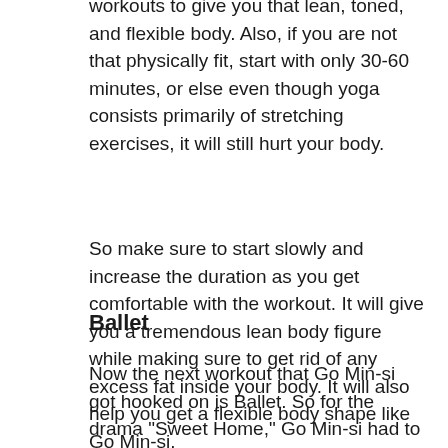workouts to give you that lean, toned, and flexible body. Also, if you are not that physically fit, start with only 30-60 minutes, or else even though yoga consists primarily of stretching exercises, it will still hurt your body.
So make sure to start slowly and increase the duration as you get comfortable with the workout. It will give you a tremendous lean body figure while making sure to get rid of any excess fat inside your body. It will also help you get a flexible body shape like Go Min-si.
Ballet
Now the next workout that Go Min-si got hooked on is Ballet. So for the drama "Sweet Home," Go Min-si had to learn how to be a professional ballet dancer, and guess what? Once she started, she couldn't stop. Go Min-si still